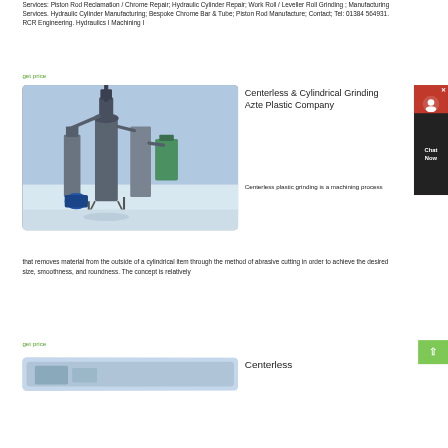Services: Piston Rod Reclamation / Chrome Repair; Hydraulic Cylinder Repair; Work Roll / Leveller Roll Grinding ; Manufacturing Services. Hydraulic Cylinder Manufacturing; Bespoke Chrome Bar & Tube; Piston Rod Manufacture; Contact; Tel: 01384 564931. RCR Engineering. Hydraulics I Machining I
get price
[Figure (photo): Industrial grinding/milling machinery with large cylindrical grinding equipment, pipes, and dust collectors, photographed outdoors in winter]
Centerless & Cylindrical Grinding Azte Plastic Company
Centerless plastic grinding is a machining process that removes material from the outside of a cylindrical item through the method of abrasive cutting in order to achieve the desired size, smoothness, and roundness. The concept is relatively
get price
[Figure (photo): Partial view of another product/machine at the bottom of the page]
Centerless